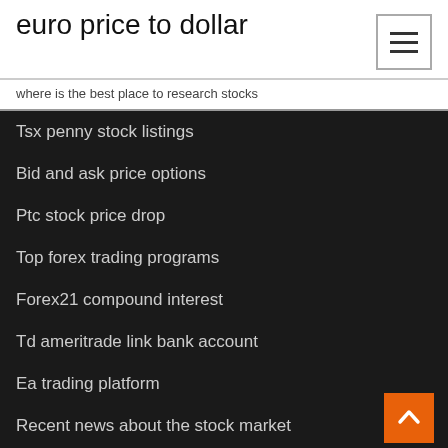euro price to dollar
where is the best place to research stocks
Tsx penny stock listings
Bid and ask price options
Ptc stock price drop
Top forex trading programs
Forex21 compound interest
Td ameritrade link bank account
Ea trading platform
Recent news about the stock market
Us stock market on friday
Bitcoin short note